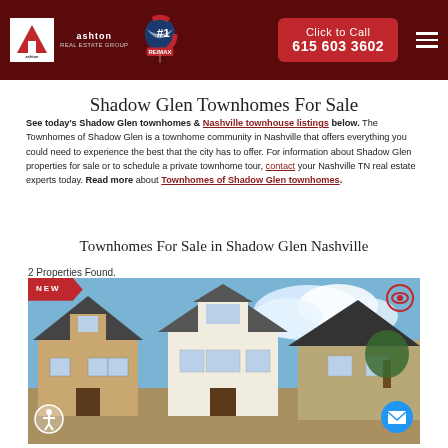Ashton Real Estate Group | #1 RE/MAX | Click to Call 615 603 3602
Shadow Glen Townhomes For Sale
See today's Shadow Glen townhomes & Nashville townhouse listings below. The Townhomes of Shadow Glen is a townhome community in Nashville that offers everything you could need to experience the best that the city has to offer. For information about Shadow Glen properties for sale or to schedule a private townhome tour, contact your Nashville TN real estate experts today. Read more about Townhomes of Shadow Glen townhomes.
Townhomes For Sale in Shadow Glen Nashville
2 Properties Found.
[Figure (photo): Exterior photo of Shadow Glen townhomes with blue sky background, showing craftsman-style townhome buildings. A NEW banner is displayed in the top-left corner.]